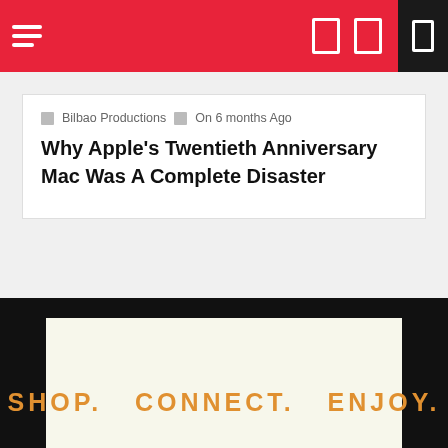Bilbao Productions | On 6 months Ago
Why Apple's Twentieth Anniversary Mac Was A Complete Disaster
[Figure (infographic): Advertisement banner with text: SHOP. CONNECT. ENJOY. on a light background with Privacy label]
Copyright All right reserved Theme: Telegram by Themeinwp